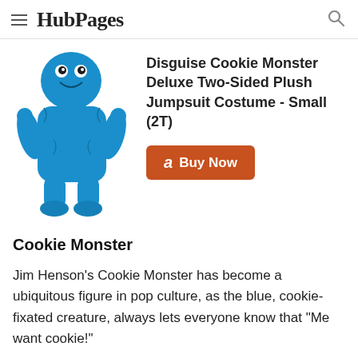HubPages
[Figure (photo): Toddler dressed in blue Cookie Monster plush jumpsuit costume with hood]
Disguise Cookie Monster Deluxe Two-Sided Plush Jumpsuit Costume - Small (2T)
Buy Now
Cookie Monster
Jim Henson's Cookie Monster has become a ubiquitous figure in pop culture, as the blue, cookie-fixated creature, always lets everyone know that "Me want cookie!"